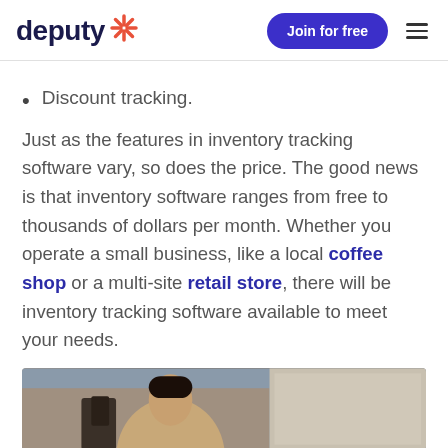deputy [logo] | Join for free [button] | [hamburger menu]
Discount tracking.
Just as the features in inventory tracking software vary, so does the price. The good news is that inventory software ranges from free to thousands of dollars per month. Whether you operate a small business, like a local coffee shop or a multi-site retail store, there will be inventory tracking software available to meet your needs.
[Figure (photo): Photo of a man looking down, appears to be in a cafe or retail environment]